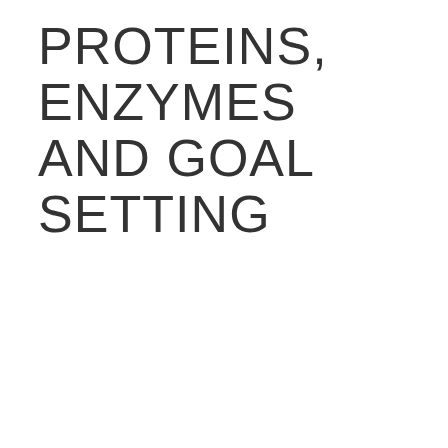PROTEINS, ENZYMES AND GOAL SETTING